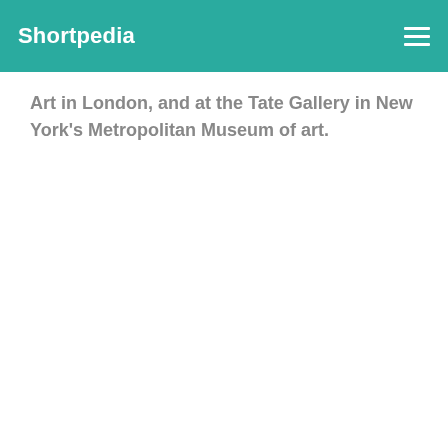Shortpedia
Art in London, and at the Tate Gallery in New York’s Metropolitan Museum of art.